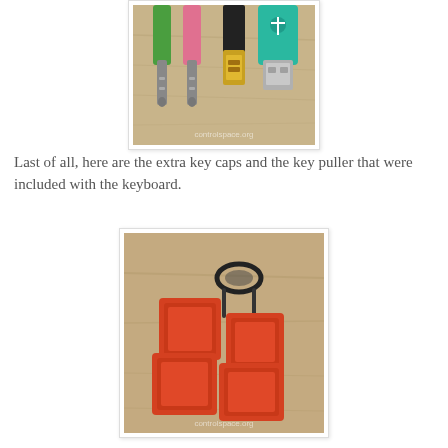[Figure (photo): Photo of audio jack cables (green and pink) and USB connectors on a wooden surface, with controlspace.org watermark]
Last of all, here are the extra key caps and the key puller that were included with the keyboard.
[Figure (photo): Photo of four orange/red mechanical keyboard keycaps and a black key puller tool on a wooden surface, with controlspace.org watermark]